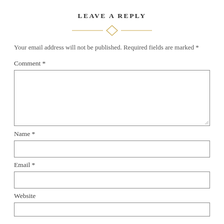LEAVE A REPLY
[Figure (illustration): Decorative horizontal line divider with a diamond shape in the center, gold/yellow colored]
Your email address will not be published. Required fields are marked *
Comment *
Name *
Email *
Website